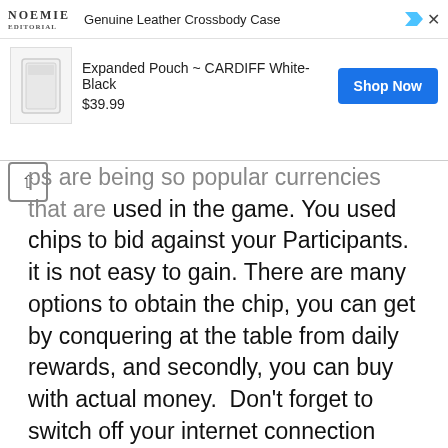[Figure (screenshot): Advertisement banner for NOEMIE Genuine Leather Crossbody Case showing product 'Expanded Pouch ~ CARDIFF White-Black' priced at $39.99 with a 'Shop Now' button]
ps are being so popular currencies that are used in the game. You used chips to bid against your Participants. it is not easy to gain. There are many options to obtain the chip, you can get by conquering at the table from daily rewards, and secondly, you can buy with actual money. Don't forget to switch off your internet connection otherwise, the server will synchronize and you will lose the chips.